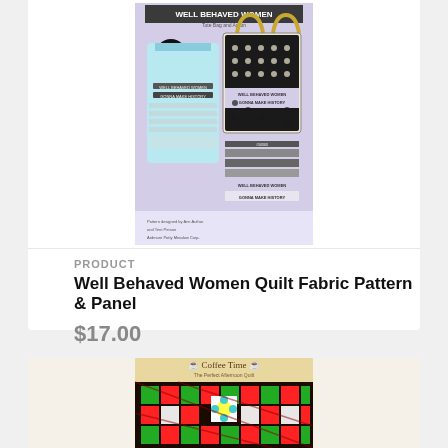[Figure (photo): Product image of Well Behaved Women Quilt Fabric Pattern & Panel showing tote bags and apron with black and white patterned fabric on a light purple background]
PRODUCT
Well Behaved Women Quilt Fabric Pattern & Panel
$17.00
[Figure (photo): Product image of Coffee Time quilt pattern showing a colorful quilt with coffee cup motifs in red, green, and black on a dark background, with title 'Coffee Time' at top]